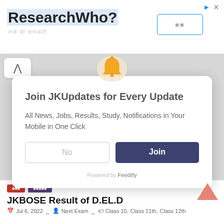[Figure (screenshot): Ad banner for 'ResearchWho?' with Hindi subtitle text, a blue-outlined button, and top-right ad icons (triangle and X)]
[Figure (screenshot): Popup notification widget: bell icon at top, white card with title 'Join JKUpdates for Every Update', body text, No and Join buttons, powered by Feedify. Behind popup is a dimmed page with a chevron-up button top-left.]
JKBOSE Result of D.EL.D
Jul 6, 2022   Next Exam   Class 10, Class 11th, Class 12th